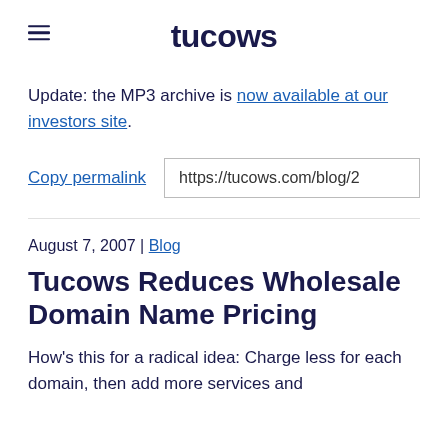tucows
Update: the MP3 archive is now available at our investors site.
Copy permalink   https://tucows.com/blog/2
August 7, 2007 | Blog
Tucows Reduces Wholesale Domain Name Pricing
How's this for a radical idea: Charge less for each domain, then add more services and